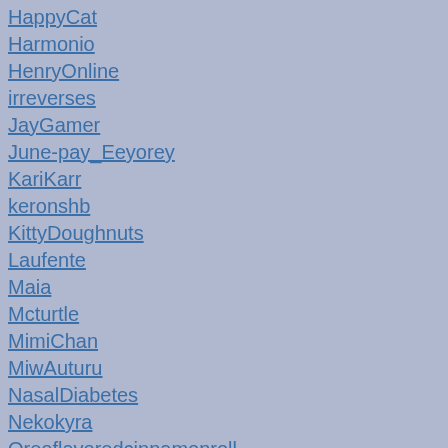HappyCat
Harmonio
HenryOnline
irreverses
JayGamer
June-pay_Eeyorey
KariKarr
keronshb
KittyDoughnuts
Laufente
Maia
Mcturtle
MimiChan
MiwAuturu
NasalDiabetes
Nekokyra
Oreoflavoredcinnamonroll
Oso-De-Clare
Popcorn-Tart
Puppystrawberry
qhostly
quartzbunny
rickydaniel13
SausageCat
[Figure (illustration): Cropped comic/webcomic illustration showing smartphone screens with speech bubbles containing handwritten text. Partial text visible includes 'park', 'some', 'found', 'flow', 'Michno', 'Michael', 'They', 'Pret', 'Remi'. Colorful illustration with green speech bubbles and pink/red accent lines.]